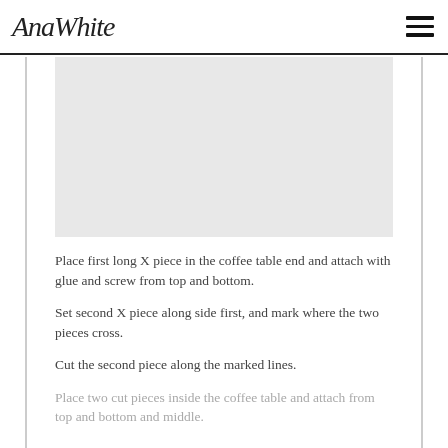AnaWhite
[Figure (photo): Image placeholder area showing a step in assembling X-piece for coffee table]
Place first long X piece in the coffee table end and attach with glue and screw from top and bottom.
Set second X piece along side first, and mark where the two pieces cross.
Cut the second piece along the marked lines.
Place two cut pieces inside the coffee table and attach from top and bottom and middle.